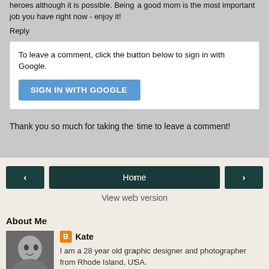heroes although it is possible. Being a good mom is the most important job you have right now - enjoy it!
Reply
To leave a comment, click the button below to sign in with Google.
SIGN IN WITH GOOGLE
Thank you so much for taking the time to leave a comment!
Home
View web version
About Me
Kate
I am a 28 year old graphic designer and photographer from Rhode Island, USA.